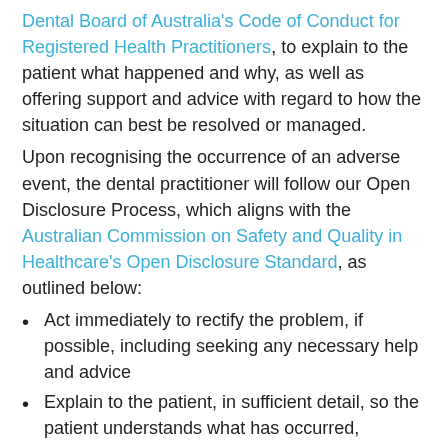Dental Board of Australia's Code of Conduct for Registered Health Practitioners, to explain to the patient what happened and why, as well as offering support and advice with regard to how the situation can best be resolved or managed.
Upon recognising the occurrence of an adverse event, the dental practitioner will follow our Open Disclosure Process, which aligns with the Australian Commission on Safety and Quality in Healthcare's Open Disclosure Standard, as outlined below:
Act immediately to rectify the problem, if possible, including seeking any necessary help and advice
Explain to the patient, in sufficient detail, so the patient understands what has occurred, including the anticipated short